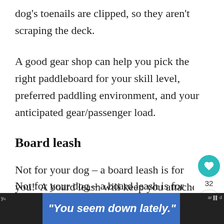dog's toenails are clipped, so they aren't scraping the deck.
A good gear shop can help you pick the right paddleboard for your skill level, preferred paddling environment, and your anticipated gear/passenger load.
Board leash
Not for your dog – a board leash is for you!  A board leash will keep you attached to the board in case you fall off (which is more likely with your dog aboard) and
[Figure (infographic): Social sidebar with heart icon button (teal circle) showing count 32, and share icon button below]
[Figure (infographic): What's Next widget showing a small photo and text 'Running with Dogs']
[Figure (infographic): Ad banner overlay at bottom: dark sides with blue center containing italic text 'You seem down lately.']